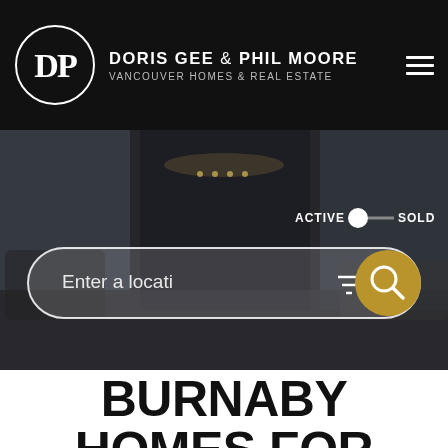DORIS GEE & PHIL MOORE VANCOUVER HOMES & REAL ESTATE
[Figure (screenshot): Real estate website hero image showing a modern luxury living room interior with dark marble fireplace, contemporary furniture, and dark overlay. Includes ACTIVE/SOLD toggle switch and a search bar with 'Enter a locati' placeholder text, a filter icon, and a gold search button.]
BURNABY HOMES FOR SALE $3,500,000-$4,000,000